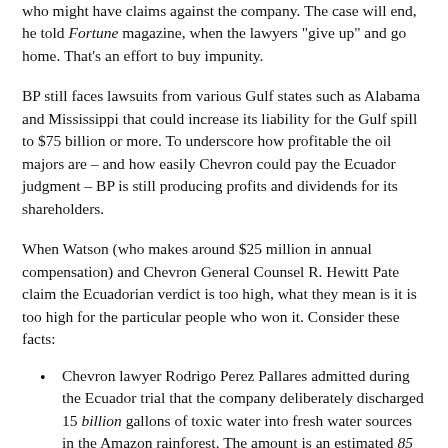who might have claims against the company. The case will end, he told Fortune magazine, when the lawyers "give up" and go home. That's an effort to buy impunity.
BP still faces lawsuits from various Gulf states such as Alabama and Mississippi that could increase its liability for the Gulf spill to $75 billion or more. To underscore how profitable the oil majors are – and how easily Chevron could pay the Ecuador judgment – BP is still producing profits and dividends for its shareholders.
When Watson (who makes around $25 million in annual compensation) and Chevron General Counsel R. Hewitt Pate claim the Ecuadorian verdict is too high, what they mean is it is too high for the particular people who won it. Consider these facts:
Chevron lawyer Rodrigo Perez Pallares admitted during the Ecuador trial that the company deliberately discharged 15 billion gallons of toxic water into fresh water sources in the Amazon rainforest. The amount is an estimated 85 times more oil waste than BP discharged into the Gulf